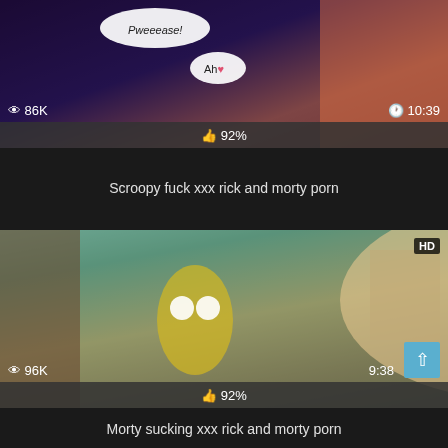[Figure (screenshot): Video thumbnail showing animated cartoon content, dark purple and orange background with anime-style characters. Shows eye icon with '86K' views on left, clock icon with '10:39' duration on right, and 92% like bar at bottom.]
Scroopy fuck xxx rick and morty porn
[Figure (screenshot): Video thumbnail showing Rick and Morty animated cartoon content, colorful background with characters. Shows eye icon with '96K' views on left, scroll-up button, duration '9:38' on right, HD badge top right, and 92% like bar at bottom.]
Morty sucking xxx rick and morty porn